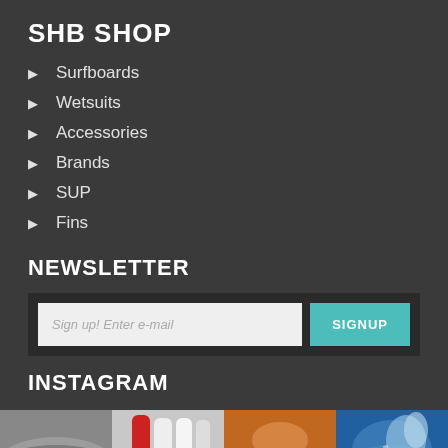SHB SHOP
Surfboards
Wetsuits
Accessories
Brands
SUP
Fins
NEWSLETTER
Sign up! Enter e-mail
SIGNUP
INSTAGRAM
[Figure (photo): Four Instagram photos: a surfer in a wave (black and white), colorful surfboards standing upright, a silhouette at sunset, and an action water splash shot]